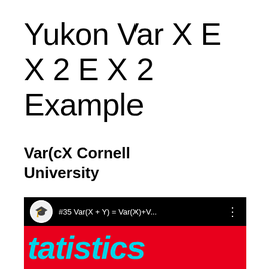Yukon Var X E X 2 E X 2 Example
Var(cX Cornell University
[Figure (screenshot): YouTube video thumbnail showing a statistics video titled '#35 Var(X + Y) = Var(X)+V...' with a circular avatar icon, black top bar with title and three-dot menu, and a red background with 'tatistics' text in cyan bold italic font.]